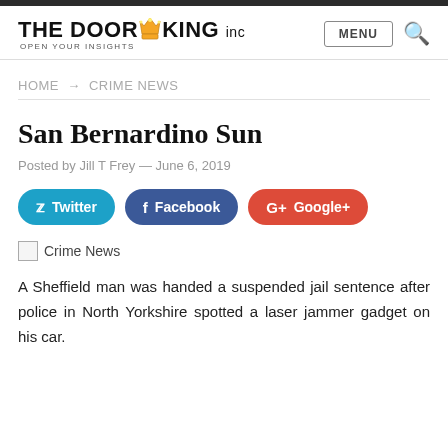THE DOOR KING inc – OPEN YOUR INSIGHTS | MENU
HOME → CRIME NEWS
San Bernardino Sun
Posted by Jill T Frey — June 6, 2019
[Figure (other): Social share buttons: Twitter, Facebook, Google+]
[Figure (photo): Crime News image placeholder]
A Sheffield man was handed a suspended jail sentence after police in North Yorkshire spotted a laser jammer gadget on his car.